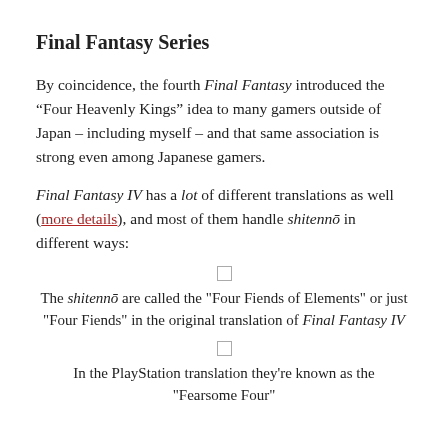Final Fantasy Series
By coincidence, the fourth Final Fantasy introduced the “Four Heavenly Kings” idea to many gamers outside of Japan – including myself – and that same association is strong even among Japanese gamers.
Final Fantasy IV has a lot of different translations as well (more details), and most of them handle shitennō in different ways:
The shitennō are called the "Four Fiends of Elements" or just "Four Fiends" in the original translation of Final Fantasy IV
In the PlayStation translation they're known as the "Fearsome Four"